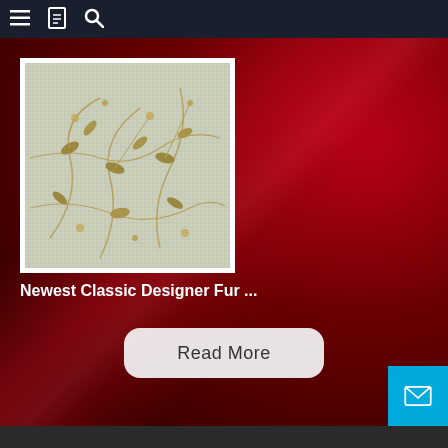Navigation bar with menu, bookmark, and search icons
[Figure (photo): A floral wallpaper/fabric swatch showing a beige/sage green background with delicate golden-brown vine and leaf pattern. Square product image with white border.]
Newest Classic Designer Fur ...
Read More
Bottom navigation bar with mail icon button